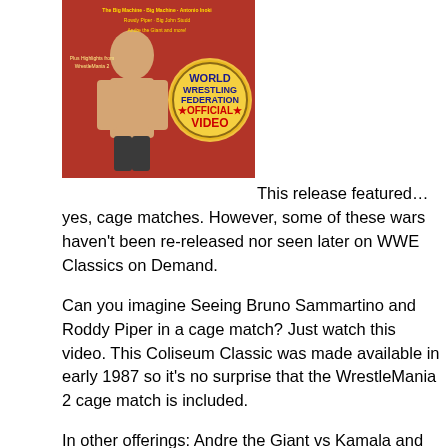[Figure (photo): WWF Coliseum Home Video VHS cover featuring a wrestler and WWF World Wrestling Federation Official Video badge/logo on a red background]
This release featured… yes, cage matches. However, some of these wars haven't been re-released nor seen later on WWE Classics on Demand.

Can you imagine Seeing Bruno Sammartino and Roddy Piper in a cage match? Just watch this video. This Coliseum Classic was made available in early 1987 so it's no surprise that the WrestleMania 2 cage match is included.

In other offerings: Andre the Giant vs Kamala and Big John Studd, respectively, Randy Savage & Adrian Adonis vs. Tito Santana & Bruno Sammartino, Greg Valentine vs. Tito Santana, Bruno Sammartino vs. George Steele, Bob Backlund vs. Pat Patterson and the infamous match between 'Superfly' Jimmy Snuka and the Maginficent Muraco of which Mick Foley was a spectator.